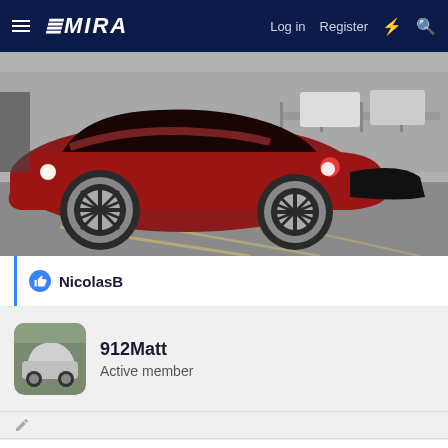EMIRA  Log in  Register
[Figure (photo): Red Lotus Emira sports car photographed from the rear three-quarter angle on a road, with silver alloy wheels visible and a dark roofline]
NicolasB
912Matt
Active member
May 17, 2022  #9